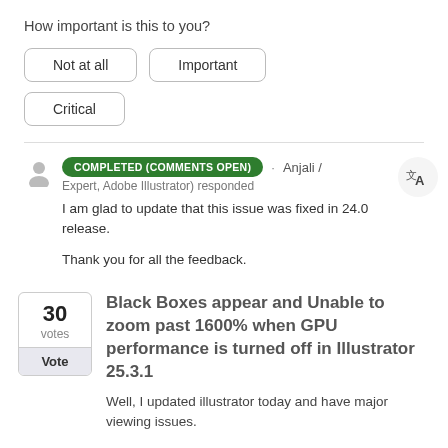How important is this to you?
Not at all
Important
Critical
COMPLETED (COMMENTS OPEN) · Anjali / Expert, Adobe Illustrator) responded
I am glad to update that this issue was fixed in 24.0 release.

Thank you for all the feedback.
Black Boxes appear and Unable to zoom past 1600% when GPU performance is turned off in Illustrator 25.3.1
Well, I updated illustrator today and have major viewing issues.